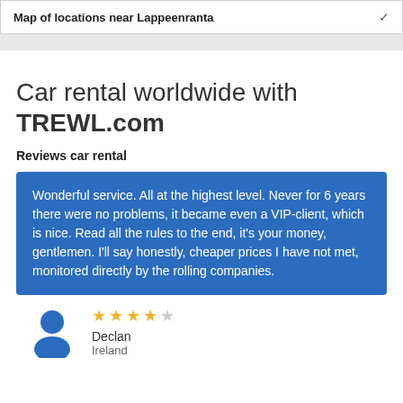Map of locations near Lappeenranta
Car rental worldwide with TREWL.com
Reviews car rental
Wonderful service. All at the highest level. Never for 6 years there were no problems, it became even a VIP-client, which is nice. Read all the rules to the end, it's your money, gentlemen. I'll say honestly, cheaper prices I have not met, monitored directly by the rolling companies.
Declan
Ireland